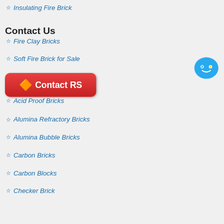☆ Insulating Fire Brick
Contact Us
☆ Fire Clay Bricks
☆ Soft Fire Brick for Sale
☆ Refractory Anchor Brick
[Figure (other): Red Contact RS button with arrow emoji]
☆ Acid Proof Bricks
☆ Alumina Refractory Bricks
☆ Alumina Bubble Bricks
☆ Carbon Bricks
☆ Carbon Blocks
☆ Checker Brick
[Figure (other): Blue chat/smiley icon in upper right]
Contact Rongsheng
Name *
[Figure (other): Text input field for Name]
[Figure (other): Teal Quick Inquiry button at bottom]
[Figure (other): reCAPTCHA widget in bottom right corner]